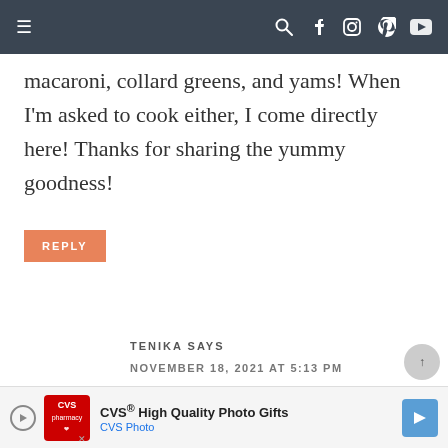Navigation bar with hamburger menu and icons (search, facebook, instagram, pinterest, youtube)
macaroni, collard greens, and yams! When I'm asked to cook either, I come directly here! Thanks for sharing the yummy goodness!
REPLY
TENIKA SAYS
NOVEMBER 18, 2021 AT 5:13 PM
★★★★★
I love turkey wings...
[Figure (screenshot): CVS High Quality Photo Gifts advertisement banner at the bottom of the page]